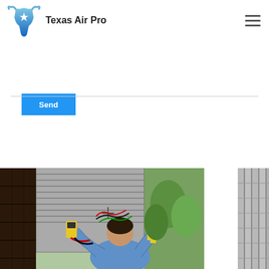[Figure (logo): Texas Air Pro logo with blue longhorn/star icon and company name]
Send
[Figure (photo): Three photos in a row: left shows dark interior, center shows HVAC technician working on outdoor air conditioning unit with yellow tools, right shows partial AC unit panel]